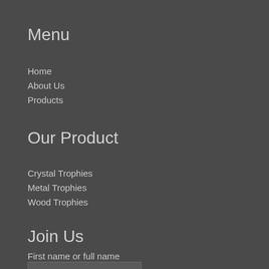Menu
Home
About Us
Products
Our Product
Crystal Trophies
Metal Trophies
Wood Trophies
Join Us
First name or full name